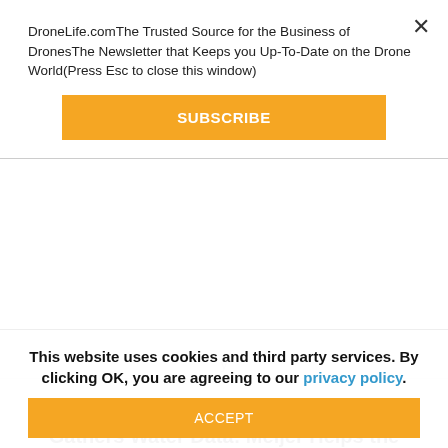DroneLife.comThe Trusted Source for the Business of DronesThe Newsletter that Keeps you Up-To-Date on the Drone World(Press Esc to close this window)
[Figure (other): Orange SUBSCRIBE button]
y
Pixie Water Drone Picks Up Trash and Gathers Water Data: Meijer Helps the Great Lakes Cleanup Program
Retailer Helps Clean Up The Great Lakes with Robot Technology: Pixie water drone and BeBot Beach Robot by ...
S... Off... j... Opt... f... M...
This website uses cookies and third party services. By clicking OK, you are agreeing to our privacy policy.
[Figure (other): Orange ACCEPT button]